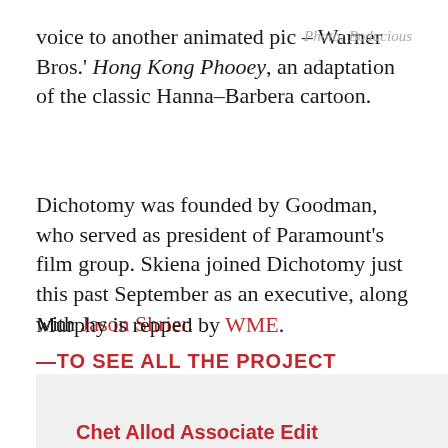voice to another animated pic – Warner Bros.' Hong Kong Phooey, an adaptation of the classic Hanna–Barbera cartoon.
Photo: Bodacious
Dichotomy was founded by Goodman, who served as president of Paramount's film group. Skiena joined Dichotomy just this past September as an executive, along with Jason Shrier.
Murphy is repped by WME.
—TO SEE ALL THE PROJECT DETAILS CLICK HERE—
Chet Allard, Associate Edit…